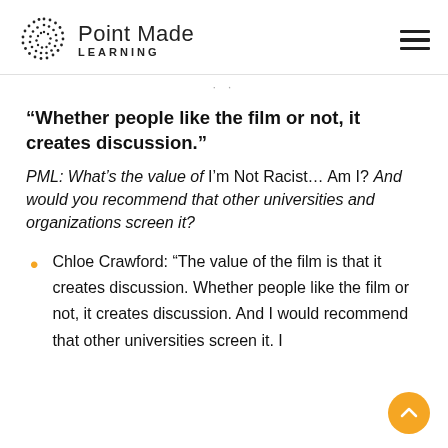Point Made Learning
“Whether people like the film or not, it creates discussion.”
PML: What’s the value of I’m Not Racist… Am I? And would you recommend that other universities and organizations screen it?
Chloe Crawford: “The value of the film is that it creates discussion. Whether people like the film or not, it creates discussion. And I would recommend that other universities screen it. I